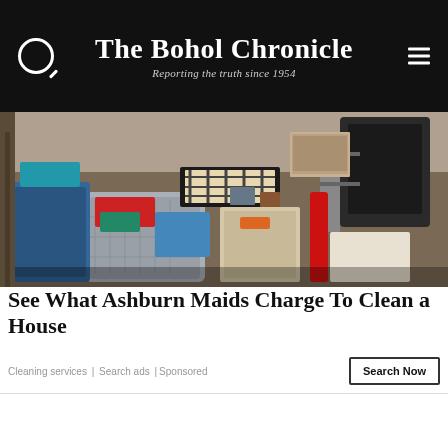The Bohol Chronicle — Reporting the truth since 1954
[Figure (photo): Cluttered room with laundry baskets, plastic bins, boxes, and various household items piled chaotically]
See What Ashburn Maids Charge To Clean a House
Cleaning services | Search ads | Sponsored
Search Now